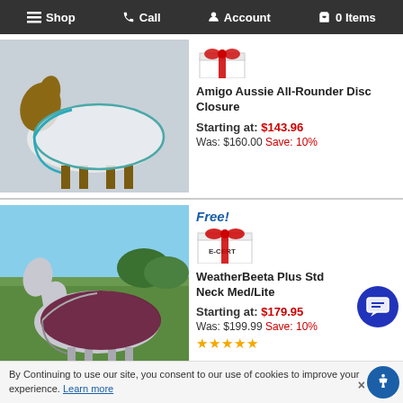Shop  Call  Account  0 Items
[Figure (photo): Horse wearing a white fly rug with teal trim, standing facing left]
[Figure (illustration): Gift icon with red ribbon bow - sale badge]
Amigo Aussie All-Rounder Disc Closure
Starting at: $143.96
Was: $160.00 Save: 10%
[Figure (photo): Grey/white horse wearing a dark burgundy/maroon turnout rug, standing in a field]
Free!
[Figure (illustration): E-CERT gift certificate icon with red ribbon bow]
WeatherBeeta Plus Std Neck Med/Lite
Starting at: $179.95
Was: $199.99 Save: 10%
★★★★★
By Continuing to use our site, you consent to our use of cookies to improve your experience. Learn more